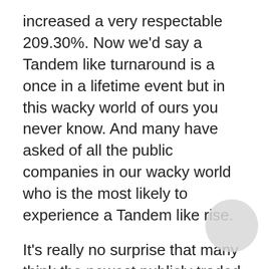increased a very respectable 209.30%. Now we'd say a Tandem like turnaround is a once in a lifetime event but in this wacky world of ours you never know. And many have asked of all the public companies in our wacky world who is the most likely to experience a Tandem like rise.
It's really no surprise that many think the newest publicly traded company Livongo stands the best chance to replicate Tandem's success. Digital diabetes is the hotter than Georgia asphalt and